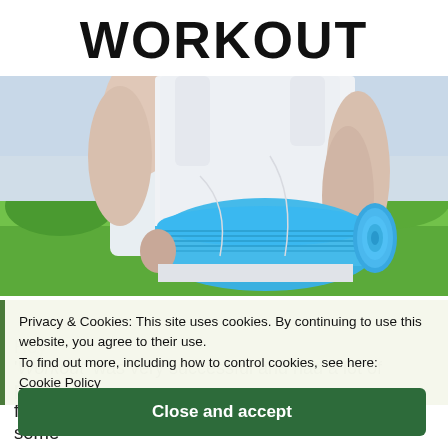WORKOUT
[Figure (photo): Woman in white sleeveless top holding a rolled blue yoga mat outdoors with green grass background]
Privacy & Cookies: This site uses cookies. By continuing to use this website, you agree to their use.
To find out more, including how to control cookies, see here:
Cookie Policy
Close and accept
Workout' was very successful and had a lot of people following along at home SO I am going to post some